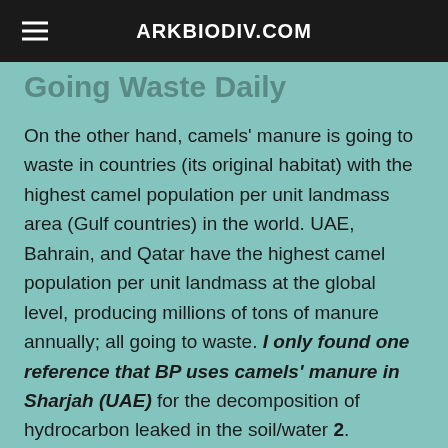ARKBIODIV.COM
Going Waste Daily
On the other hand, camels' manure is going to waste in countries (its original habitat) with the highest camel population per unit landmass area (Gulf countries) in the world. UAE, Bahrain, and Qatar have the highest camel population per unit landmass at the global level, producing millions of tons of manure annually; all going to waste. I only found one reference that BP uses camels' manure in Sharjah (UAE) for the decomposition of hydrocarbon leaked in the soil/water 2. Camels' dung is used for Bio Paper